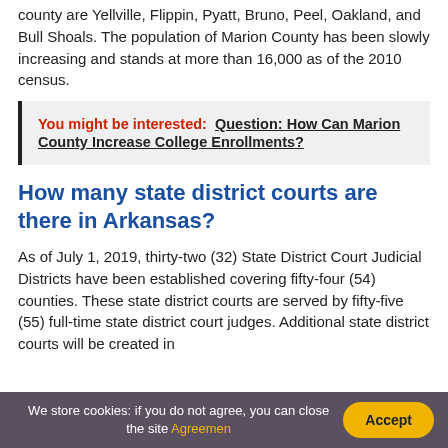county are Yellville, Flippin, Pyatt, Bruno, Peel, Oakland, and Bull Shoals. The population of Marion County has been slowly increasing and stands at more than 16,000 as of the 2010 census.
You might be interested: Question: How Can Marion County Increase College Enrollments?
How many state district courts are there in Arkansas?
As of July 1, 2019, thirty-two (32) State District Court Judicial Districts have been established covering fifty-four (54) counties. These state district courts are served by fifty-five (55) full-time state district court judges. Additional state district courts will be created in
We store cookies: if you do not agree, you can close the site Agreemen Accept